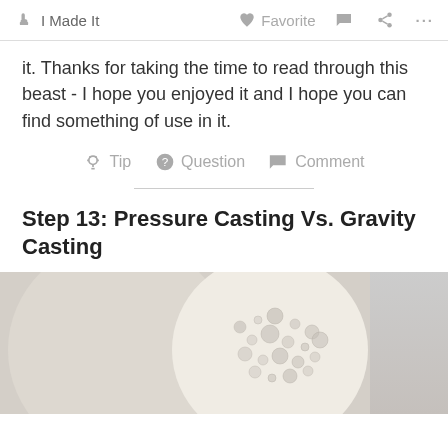I Made It   Favorite   Comment   Share   ...
it.  Thanks for taking the time to read through this beast - I hope you enjoyed it and I hope you can find something of use in it.
Tip   Question   Comment
Step 13: Pressure Casting Vs. Gravity Casting
[Figure (photo): Two casting samples side by side: left shows a smooth flat disc surface (pressure cast), right shows a bubbly/foamy textured circular surface (gravity cast). A third partially visible image on the far right shows a plain grey surface.]